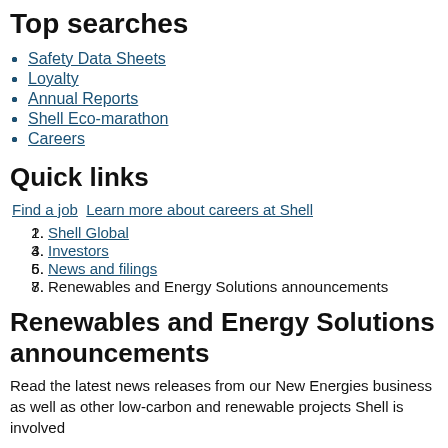Top searches
Safety Data Sheets
Loyalty
Annual Reports
Shell Eco-marathon
Careers
Quick links
Find a job  Learn more about careers at Shell
Shell Global
Investors
News and filings
Renewables and Energy Solutions announcements
Renewables and Energy Solutions announcements
Read the latest news releases from our New Energies business as well as other low-carbon and renewable projects Shell is involved